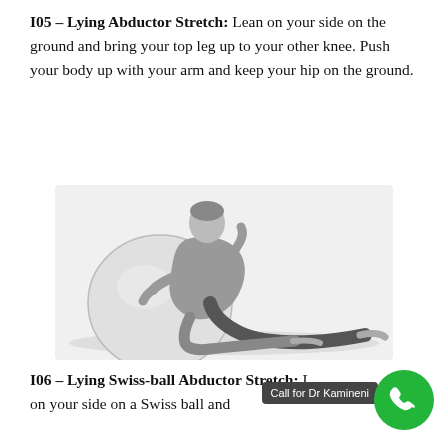I05 – Lying Abductor Stretch: Lean on your side on the ground and bring your top leg up to your other knee. Push your body up with your arm and keep your hip on the ground.
[Figure (photo): Black and white photograph of a woman performing the Lying Abductor Stretch, leaning sideways on a large Swiss ball with one hand on the floor and legs extended to the side.]
I06 – Lying Swiss-ball Abductor Stretch: L... on your side on a Swiss ball and ...